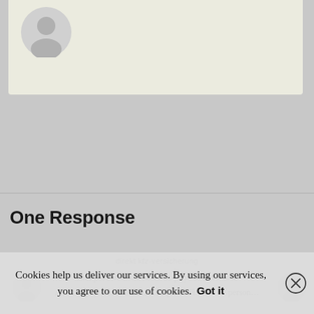[Figure (illustration): User profile card with gray silhouette avatar icon on light beige/cream background]
One Response
direkt kfz-versicherung
Titel personalisé Allez au pays des morts la Au-vo pay-yo aki munu reaunite por la fâ… ent un person…
Cookies help us deliver our services. By using our services, you agree to our use of cookies. Got it